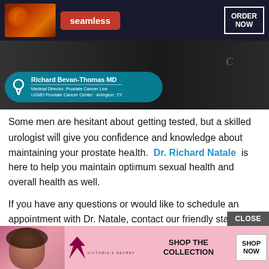[Figure (screenshot): Seamless food delivery advertisement banner with pizza image, seamless logo in red, and ORDER NOW button on dark background]
[Figure (screenshot): Video screenshot showing Richard Bevan-Thomas MD, Medical Director Prostate Cancer Live, USMD Prostate Cancer Center - Arlington TX, with teal oval name card overlay]
Some men are hesitant about getting tested, but a skilled urologist will give you confidence and knowledge about maintaining your prostate health. Dr. Richard Natale is here to help you maintain optimum sexual health and overall health as well.
If you have any questions or would like to schedule an appointment with Dr. Natale, contact our friendly staff at Carolina Urology today by calling 786-5131 or by filling out our ap[pointment form]... ward to ser[ving you]
[Figure (screenshot): Victoria's Secret advertisement banner with model, VS logo, SHOP THE COLLECTION text, and SHOP NOW button]
CLOSE button overlay